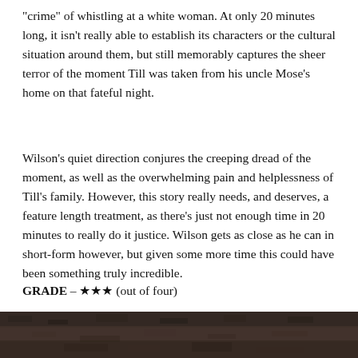"crime" of whistling at a white woman. At only 20 minutes long, it isn't really able to establish its characters or the cultural situation around them, but still memorably captures the sheer terror of the moment Till was taken from his uncle Mose's home on that fateful night.
Wilson's quiet direction conjures the creeping dread of the moment, as well as the overwhelming pain and helplessness of Till's family. However, this story really needs, and deserves, a feature length treatment, as there's just not enough time in 20 minutes to really do it justice. Wilson gets as close as he can in short-form however, but given some more time this could have been something truly incredible.
GRADE – ★★★ (out of four)
[Figure (photo): Bottom portion of a photo showing a dark brown textured surface, likely foliage or ground cover.]